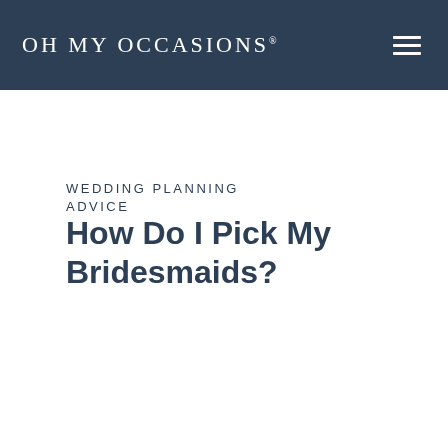OH MY OCCASIONS®
WEDDING PLANNING ADVICE
How Do I Pick My Bridesmaids?